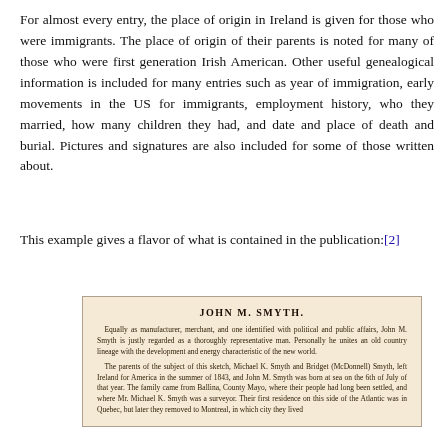For almost every entry, the place of origin in Ireland is given for those who were immigrants. The place of origin of their parents is noted for many of those who were first generation Irish American. Other useful genealogical information is included for many entries such as year of immigration, early movements in the US for immigrants, employment history, who they married, how many children they had, and date and place of death and burial. Pictures and signatures are also included for some of those written about.
This example gives a flavor of what is contained in the publication:[2]
[Figure (illustration): Scanned page excerpt showing a biographical entry for JOHN M. SMYTH from a historical publication. The entry describes him as a manufacturer, merchant, and public figure, and details his family origins from Ballina, County Mayo, Ireland, with his parents Michael K. Smyth and Bridget (McDonnell) Smyth emigrating to America in summer of 1843.]